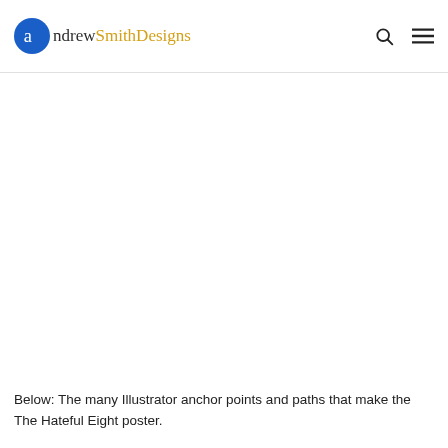AndrewSmithDesigns
[Figure (other): Large white/blank content area, likely an advertisement or image placeholder]
Below: The many Illustrator anchor points and paths that make the The Hateful Eight poster.